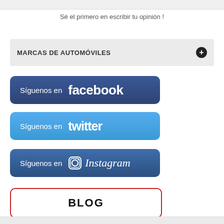Sé el primero en escribir tu opinion !
MARCAS DE AUTOMÓVILES
[Figure (screenshot): Síguenos en facebook button - dark blue rounded rectangle social media follow button]
[Figure (screenshot): Síguenos en twitter button - light blue rounded rectangle social media follow button]
[Figure (screenshot): Síguenos en Instagram button - dark blue rounded rectangle social media follow button with Instagram icon]
[Figure (screenshot): BLOG button - white rectangle with red border]